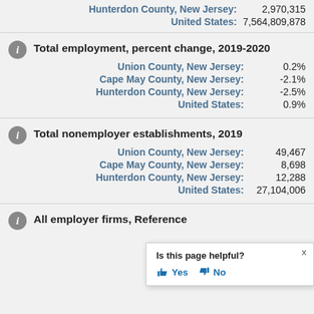Hunterdon County, New Jersey: 2,970,315
United States: 7,564,809,878
Total employment, percent change, 2019-2020
Union County, New Jersey: 0.2%
Cape May County, New Jersey: -2.1%
Hunterdon County, New Jersey: -2.5%
United States: 0.9%
Total nonemployer establishments, 2019
Union County, New Jersey: 49,467
Cape May County, New Jersey: 8,698
Hunterdon County, New Jersey: 12,288
United States: 27,104,006
All employer firms, Reference
Is this page helpful? Yes No